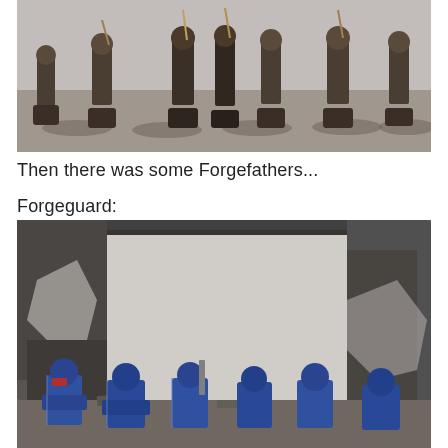[Figure (photo): Group of painted fantasy/sci-fi miniatures on dark bases with grass tufts, posed on a grey surface. Figures appear to be dark-armored warriors with spears and weapons.]
Then there was some Forgefathers...
Forgeguard:
[Figure (photo): Group of blue-armored dwarf-like Forgeguard miniatures posed among ruined building terrain pieces painted dark grey/black. The figures carry large weapons and wear heavy power armor.]